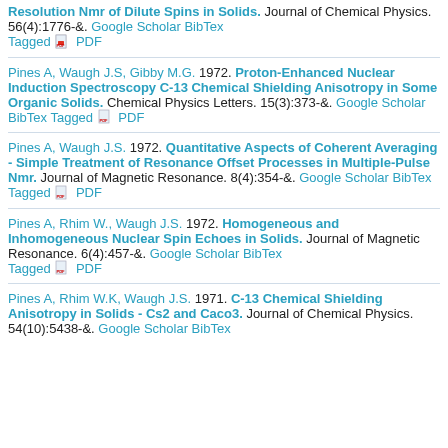Resolution Nmr of Dilute Spins in Solids. Journal of Chemical Physics. 56(4):1776-&. Google Scholar BibTex Tagged PDF
Pines A, Waugh J.S, Gibby M.G. 1972. Proton-Enhanced Nuclear Induction Spectroscopy C-13 Chemical Shielding Anisotropy in Some Organic Solids. Chemical Physics Letters. 15(3):373-&. Google Scholar BibTex Tagged PDF
Pines A, Waugh J.S. 1972. Quantitative Aspects of Coherent Averaging - Simple Treatment of Resonance Offset Processes in Multiple-Pulse Nmr. Journal of Magnetic Resonance. 8(4):354-&. Google Scholar BibTex Tagged PDF
Pines A, Rhim W., Waugh J.S. 1972. Homogeneous and Inhomogeneous Nuclear Spin Echoes in Solids. Journal of Magnetic Resonance. 6(4):457-&. Google Scholar BibTex Tagged PDF
Pines A, Rhim W.K, Waugh J.S. 1971. C-13 Chemical Shielding Anisotropy in Solids - Cs2 and Caco3. Journal of Chemical Physics. 54(10):5438-&. Google Scholar BibTex